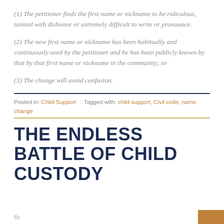(1) The petitioner finds the first name or nickname to be ridiculous, tainted with dishonor or extremely difficult to write or pronounce.
(2) The new first name or nickname has been habitually and continuously used by the petitioner and he has been publicly known by that by that first name or nickname in the community; or
(3) The change will avoid confusion.
Posted in: Child Support   Tagged with: child support, Civil code, name change
THE ENDLESS BATTLE OF CHILD CUSTODY